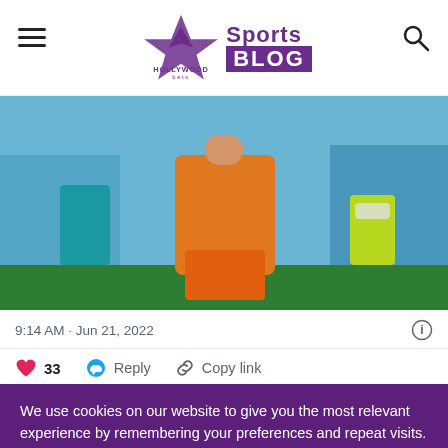Hollywoodbets Sports Blog
[Figure (photo): A soccer player in an orange Netherlands kit standing on pitch with crowd and staff in background]
9:14 AM · Jun 21, 2022
33  Reply  Copy link
We use cookies on our website to give you the most relevant experience by remembering your preferences and repeat visits. By clicking “Accept”, you consent to the use of ALL the cookies. View our Cookie Policy